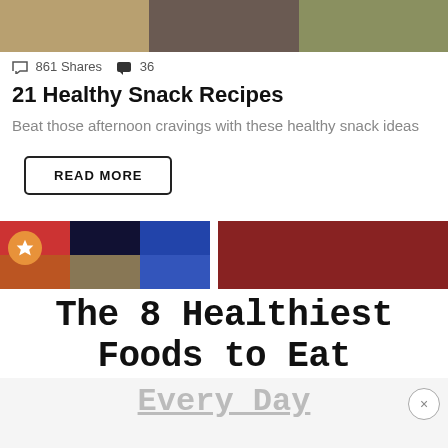[Figure (photo): Three food photos in a horizontal strip at the top of the page]
861 Shares  36
21 Healthy Snack Recipes
Beat those afternoon cravings with these healthy snack ideas
READ MORE
[Figure (photo): Two food photos side by side with a star badge overlay on the left image showing colorful berries/fruits in containers and red tomatoes on the right]
The 8 Healthiest Foods to Eat Every Day
[Figure (photo): Bottom strip of food image partially visible]